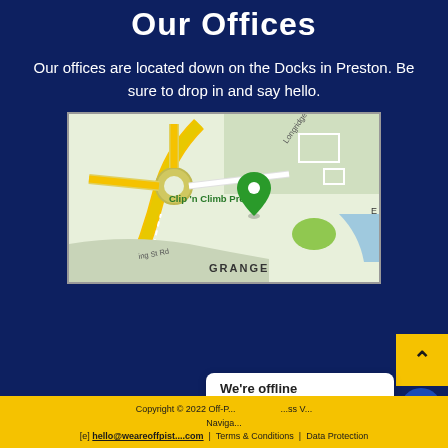Our Offices
Our offices are located down on the Docks in Preston. Be sure to drop in and say hello.
[Figure (map): Google Maps view showing location near Clip 'n Climb Preston in the Grange area, with Longridge Rd visible and a green map pin marker.]
Copyright © 2022 Off-P... ...ss V... | Navigate... | [e] hello@weareoffpist....com | Terms & Conditions | Data Protection
We're offline
Leave a message